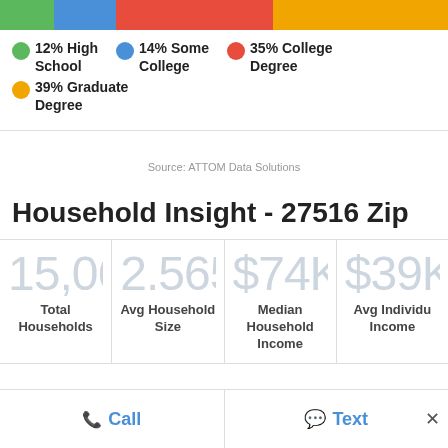[Figure (stacked-bar-chart): Education level breakdown]
12% High School  14% Some College  35% College Degree  39% Graduate Degree
Source: ATTOM Data Solutions
Household Insight - 27516 Zip
| Total Households | Avg Household Size | Median Household Income | Avg Individual Income |
| --- | --- | --- | --- |
| 15,065 | 2.565 | $74K | $39K |
Call   Text